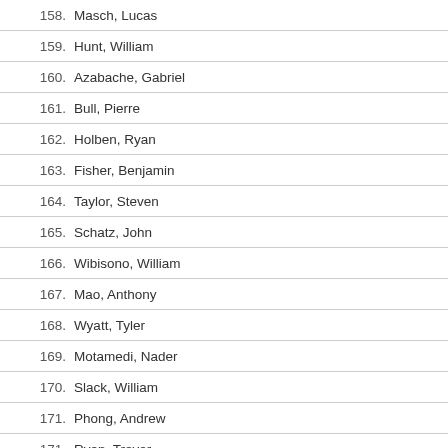158. Masch, Lucas
159. Hunt, William
160. Azabache, Gabriel
161. Bull, Pierre
162. Holben, Ryan
163. Fisher, Benjamin
164. Taylor, Steven
165. Schatz, John
166. Wibisono, William
167. Mao, Anthony
168. Wyatt, Tyler
169. Motamedi, Nader
170. Slack, William
171. Phong, Andrew
171. Ryan, Trevor